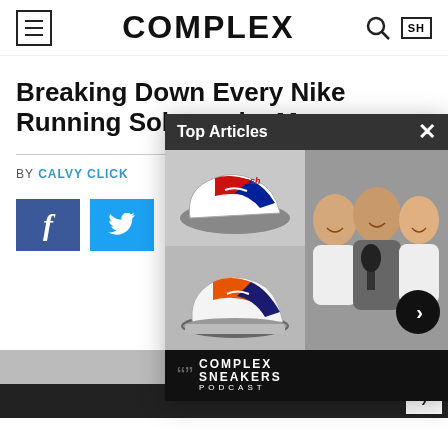COMPLEX
Breaking Down Every Nike Running Sole on the M
BY CALVY CLICK
[Figure (screenshot): Popup overlay showing 'Top Articles' with sneaker images (Nike Air Jordan 1 and Nike SB Dunk in orange/navy) and a podcast panel with three men smiling, labeled COMPLEX SNEAKERS PODCAST, with a close button X and forward arrow button]
[Figure (screenshot): Social share buttons: blue Facebook button with 'f' icon and blue Twitter button with bird icon]